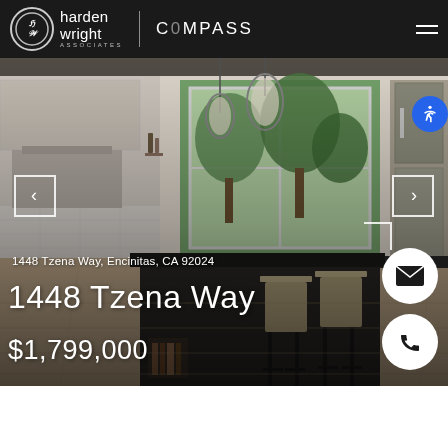[Figure (logo): Harden Wright Associates logo with HW monogram in circle, Compass branding, navigation header on dark background]
[Figure (photo): Modern kitchen interior with dark island, barstools, pendant lights, white cabinets, large windows with garden view]
1448 Tzena Way, Encinitas, CA 92024
1448 Tzena Way
$1,799,000